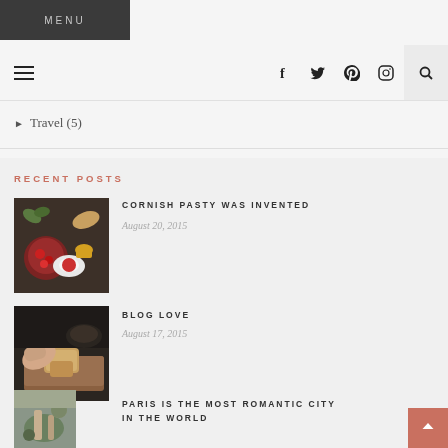MENU
[Figure (screenshot): Navigation bar with hamburger menu, social icons (Facebook, Twitter, Pinterest, Instagram), and search button]
Travel (5)
RECENT POSTS
[Figure (photo): Overhead shot of food spread with strawberries, croissant, plates on dark table]
CORNISH PASTY WAS INVENTED
August 20, 2015
[Figure (photo): Hand cutting bread on wooden cutting board]
BLOG LOVE
August 17, 2015
PARIS IS THE MOST ROMANTIC CITY IN THE WORLD